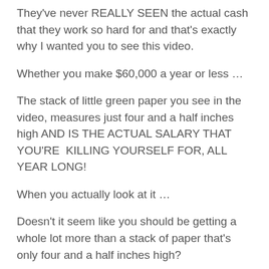They've never REALLY SEEN the actual cash that they work so hard for and that's exactly why I wanted you to see this video.
Whether you make $60,000 a year or less …
The stack of little green paper you see in the video, measures just four and a half inches high AND IS THE ACTUAL SALARY THAT YOU'RE  KILLING YOURSELF FOR, ALL YEAR LONG!
When you actually look at it …
Doesn't it seem like you should be getting a whole lot more than a stack of paper that's only four and a half inches high?